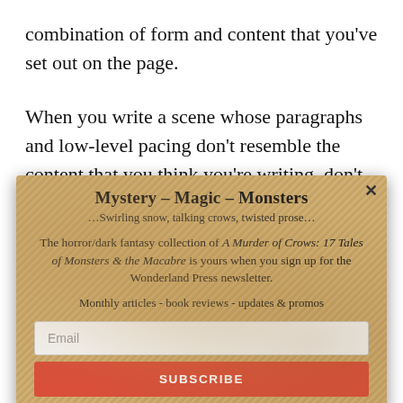combination of form and content that you've set out on the page.
When you write a scene whose paragraphs and low-level pacing don't resemble the content that you think you're writing, don't be surprised if a plot twist appears
Mystery – Magic – Monsters
…Swirling snow, talking crows, twisted prose…
The horror/dark fantasy collection of A Murder of Crows: 17 Tales of Monsters & the Macabre is yours when you sign up for the Wonderland Press newsletter.
Monthly articles - book reviews - updates & promos